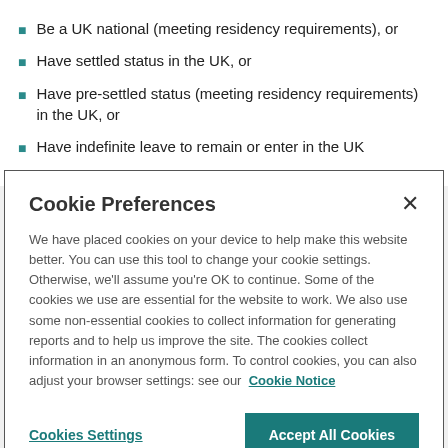Be a UK national (meeting residency requirements), or
Have settled status in the UK, or
Have pre-settled status (meeting residency requirements) in the UK, or
Have indefinite leave to remain or enter in the UK
Cookie Preferences
We have placed cookies on your device to help make this website better. You can use this tool to change your cookie settings. Otherwise, we'll assume you're OK to continue. Some of the cookies we use are essential for the website to work. We also use some non-essential cookies to collect information for generating reports and to help us improve the site. The cookies collect information in an anonymous form. To control cookies, you can also adjust your browser settings: see our Cookie Notice
Cookies Settings
Accept All Cookies